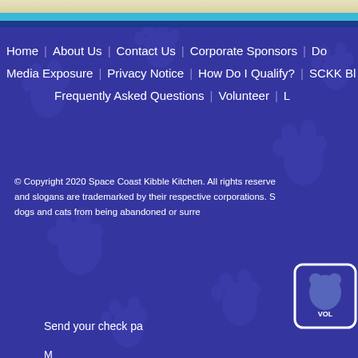Home | About Us | Contact Us | Corporate Sponsors | Do... | Media Exposure | Privacy Notice | How Do I Qualify? | SCKK Bl... | Frequently Asked Questions | Volunteer | ...
© Copyright 2020 Space Coast Kibble Kitchen. All rights reserve... and slogans are trademarked by their respective corporations. S... dogs and cats from being abandoned or surre...
[Figure (logo): VOL... logo in rounded rectangle, white on blue background]
Send your check pa...
M...
P...
E...